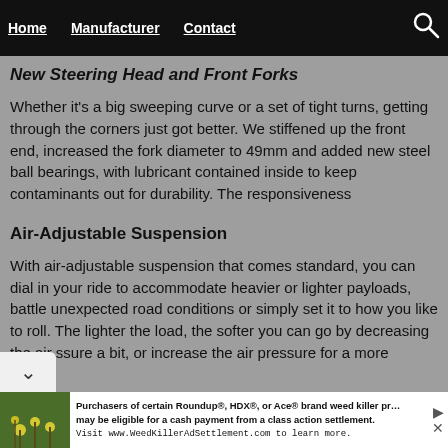Home  Manufacturer  Contact
New Steering Head and Front Forks
Whether it’s a big sweeping curve or a set of tight turns, getting through the corners just got better. We stiffened up the front end, increased the fork diameter to 49mm and added new steel ball bearings, with lubricant contained inside to keep contaminants out for durability. The responsiveness
Air-Adjustable Suspension
With air-adjustable suspension that comes standard, you can dial in your ride to accommodate heavier or lighter payloads, battle unexpected road conditions or simply set it to how you like to roll. The lighter the load, the softer you can go by decreasing the air ssure a bit, or increase the air pressure for a more
Purchasers of certain Roundup®, HDX®, or Ace® brand weed killer pr… may be eligible for a cash payment from a class action settlement. Visit www.WeedKillerAdSettlement.com to learn more.